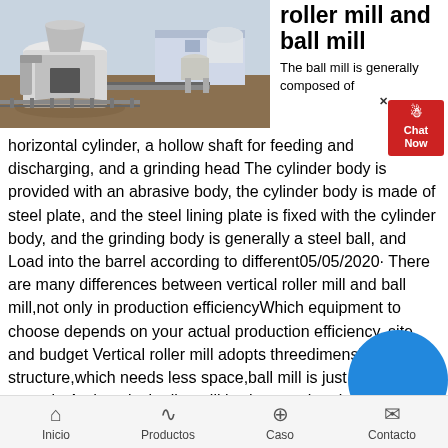[Figure (photo): Industrial construction site showing heavy equipment including a large crusher or mill machine in the foreground, with other industrial machinery and a building visible in the background.]
roller mill and ball mill
The ball mill is generally composed of horizontal cylinder, a hollow shaft for feeding and discharging, and a grinding head The cylinder body is provided with an abrasive body, the cylinder body is made of steel plate, and the steel lining plate is fixed with the cylinder body, and the grinding body is generally a steel ball, and Load into the barrel according to different05/05/2020· There are many differences between vertical roller mill and ball mill,not only in production efficiencyWhich equipment to choose depends on your actual production efficiency, site and budget Vertical roller mill adopts threedimensional structure,which needs less space,ball mill is just the oppositeAnd vertical roller mill is cheaper than ball mill if youBall Mill vs Vertical
Inicio   Productos   Caso   Contacto